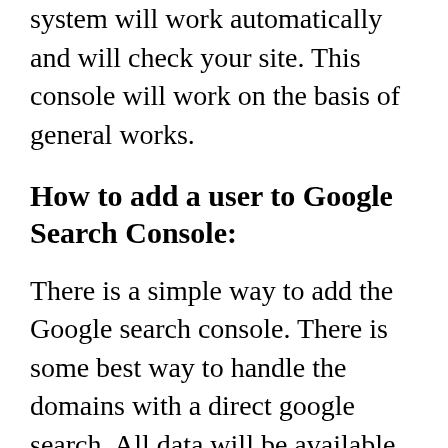system will work automatically and will check your site. This console will work on the basis of general works.
How to add a user to Google Search Console:
There is a simple way to add the Google search console. There is some best way to handle the domains with a direct google search. All data will be available in the google search console. This system will help you to manage the task with some easy steps. The SEO console of the google search is the most powerful tool in the